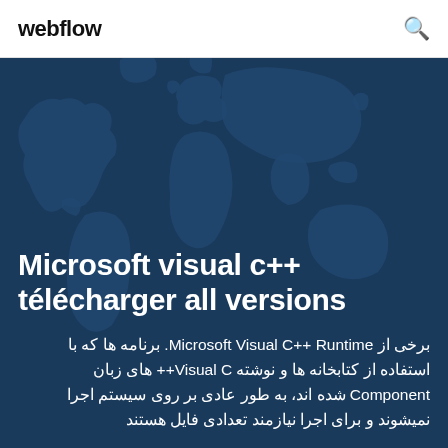webflow
[Figure (illustration): Dark blue world map illustration used as hero background]
Microsoft visual c++ télécharger all versions
برخی از Microsoft Visual C++ Runtime. برنامه ها که با استفاده از کتابخانه ها و نوشته Visual C++ های زبان Component شده اند، به طور عادی بر روی سیستم اجرا نمیشوند و برای اجرا نیازمند تعدادی فایل هستند